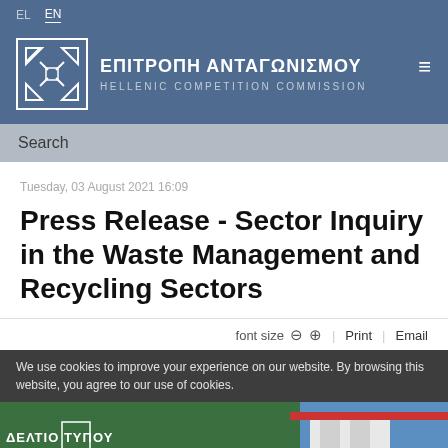EL  EN
[Figure (logo): Hellenic Competition Commission logo with Greek name ΕΠΙΤΡΟΠΗ ΑΝΤΑΓΩΝΙΣΜΟΥ and English subtitle HELLENIC COMPETITION COMMISSION]
Search
Tuesday, 03 August 2021 16:09
Press Release - Sector Inquiry in the Waste Management and Recycling Sectors
font size  ⊖  ⊕  |  Print  |  Email
We use cookies to improve your experience on our website. By browsing this website, you agree to our use of cookies.
[Figure (photo): Partial view of building/signage with ΔΕΛΤΙΟ ΤΥΠΟΥ text visible at bottom]